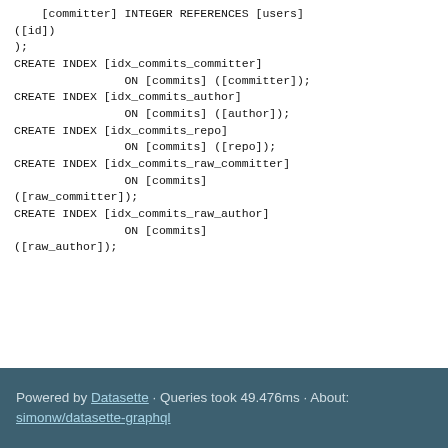[committer] INTEGER REFERENCES [users]
([id])
);
CREATE INDEX [idx_commits_committer]
                ON [commits] ([committer]);
CREATE INDEX [idx_commits_author]
                ON [commits] ([author]);
CREATE INDEX [idx_commits_repo]
                ON [commits] ([repo]);
CREATE INDEX [idx_commits_raw_committer]
                ON [commits]
([raw_committer]);
CREATE INDEX [idx_commits_raw_author]
                ON [commits]
([raw_author]);
Powered by Datasette · Queries took 49.476ms · About: simonw/datasette-graphql